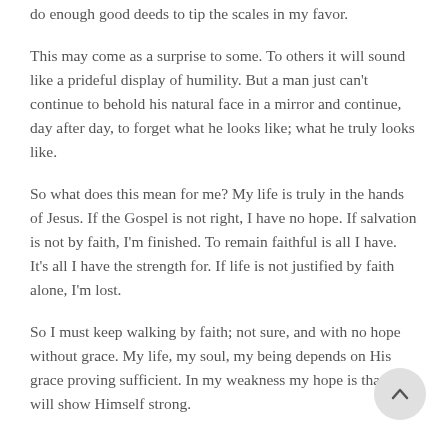do enough good deeds to tip the scales in my favor.
This may come as a surprise to some. To others it will sound like a prideful display of humility. But a man just can't continue to behold his natural face in a mirror and continue, day after day, to forget what he looks like; what he truly looks like.
So what does this mean for me? My life is truly in the hands of Jesus. If the Gospel is not right, I have no hope. If salvation is not by faith, I'm finished. To remain faithful is all I have. It's all I have the strength for. If life is not justified by faith alone, I'm lost.
So I must keep walking by faith; not sure, and with no hope without grace. My life, my soul, my being depends on His grace proving sufficient. In my weakness my hope is that He will show Himself strong.